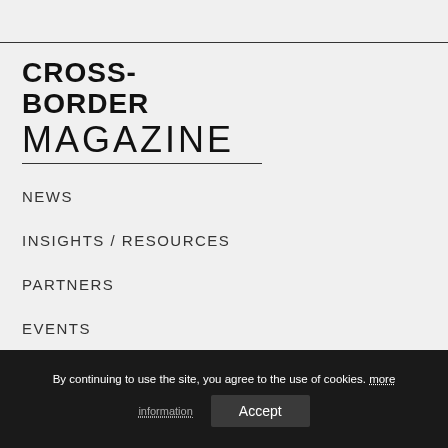CROSS-BORDER MAGAZINE
NEWS
INSIGHTS / RESOURCES
PARTNERS
EVENTS
MAGAZINE
BECOME A PAR...
By continuing to use the site, you agree to the use of cookies. more information
Accept